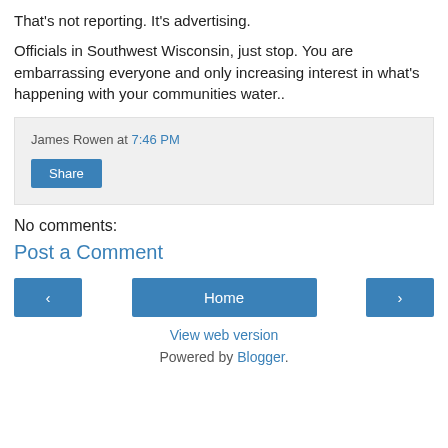That's not reporting. It's advertising.
Officials in Southwest Wisconsin, just stop. You are embarrassing everyone and only increasing interest in what's happening with your communities water..
James Rowen at 7:46 PM
Share
No comments:
Post a Comment
‹
Home
›
View web version
Powered by Blogger.